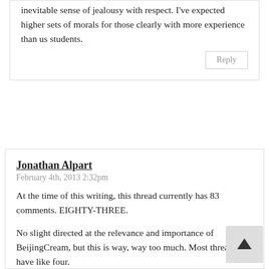inevitable sense of jealousy with respect. I've expected higher sets of morals for those clearly with more experience than us students.
Reply
Jonathan Alpart
February 4th, 2013 2:32pm
At the time of this writing, this thread currently has 83 comments. EIGHTY-THREE.
No slight directed at the relevance and importance of BeijingCream, but this is way, way too much. Most threads have like four.
I'm not a violent person, and I'm not actually planning on punching anyone in the face. In fact, I don't think I have ever